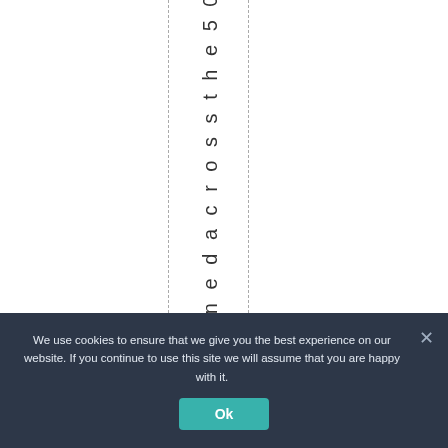l a n n e d a c r o s s t h e 5 0 s
We use cookies to ensure that we give you the best experience on our website. If you continue to use this site we will assume that you are happy with it.